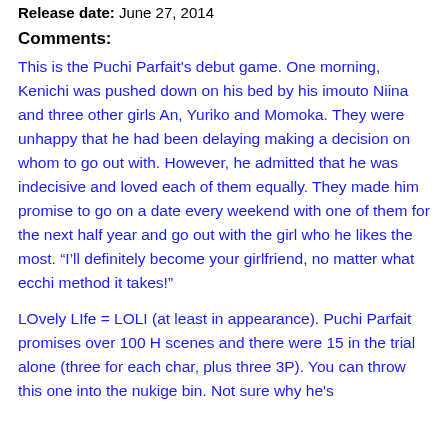Release date: June 27, 2014
Comments:
This is the Puchi Parfait's debut game. One morning, Kenichi was pushed down on his bed by his imouto Niina and three other girls An, Yuriko and Momoka. They were unhappy that he had been delaying making a decision on whom to go out with. However, he admitted that he was indecisive and loved each of them equally. They made him promise to go on a date every weekend with one of them for the next half year and go out with the girl who he likes the most. “I’ll definitely become your girlfriend, no matter what ecchi method it takes!”
LOvely LIfe = LOLI (at least in appearance). Puchi Parfait promises over 100 H scenes and there were 15 in the trial alone (three for each char, plus three 3P). You can throw this one into the nukige bin. Not sure why he's